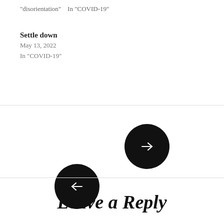"disorientation"    In "COVID-19"
Settle down
May 13, 2022
In "COVID-19"
[Figure (illustration): Two black circular navigation buttons: a right-arrow button (next) positioned upper-right, and a left-arrow button (previous) positioned lower-left, overlapping slightly.]
Leave a Reply